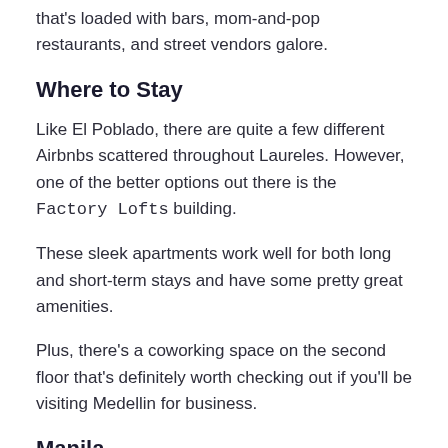that's loaded with bars, mom-and-pop restaurants, and street vendors galore.
Where to Stay
Like El Poblado, there are quite a few different Airbnbs scattered throughout Laureles. However, one of the better options out there is the Factory Lofts building.
These sleek apartments work well for both long and short-term stays and have some pretty great amenities.
Plus, there's a coworking space on the second floor that's definitely worth checking out if you'll be visiting Medellin for business.
Manila